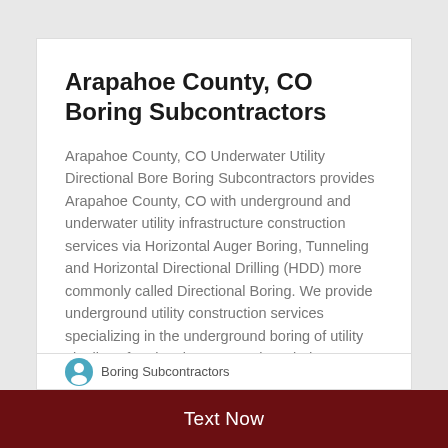Arapahoe County, CO Boring Subcontractors
Arapahoe County, CO Underwater Utility Directional Bore Boring Subcontractors provides Arapahoe County, CO with underground and underwater utility infrastructure construction services via Horizontal Auger Boring, Tunneling and Horizontal Directional Drilling (HDD) more commonly called Directional Boring. We provide underground utility construction services specializing in the underground boring of utility pipelines for electric power, solar, wind, … Continue reading
Text Now